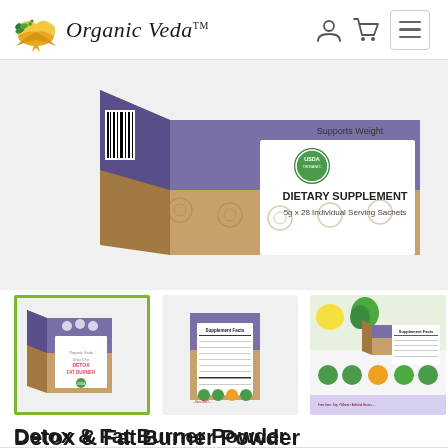Organic Veda
[Figure (photo): Close-up photo of Organic Veda Detox & Fat Burner Powder dietary supplement box. Box has purple and kraft brown design, showing 'DIETARY SUPPLEMENT 5g x 28 Individual Serving Sachets' with USDA Organic seal. Partial barcode visible on left side.]
[Figure (photo): Thumbnail: Front view of Organic Veda Detox & Fat Burner Powder box with purple and kraft brown design, green active border highlight.]
[Figure (photo): Thumbnail: Back view of Organic Veda Detox & Fat Burner Powder box showing Supplement Facts panel.]
[Figure (photo): Thumbnail: Supplement facts infographic with ingredients photos (lemon, herbs, cinnamon) and Supplement Facts panel.]
Detox & Fat Burner Powder